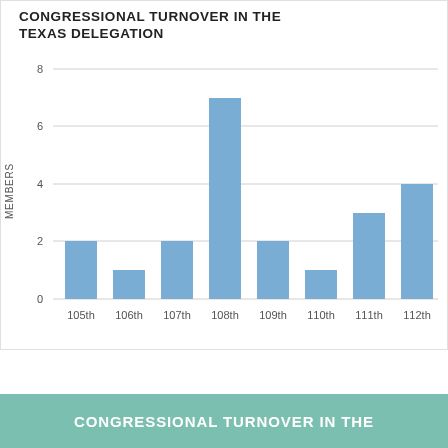[Figure (bar-chart): CONGRESSIONAL TURNOVER IN THE TEXAS DELEGATION]
CONGRESSIONAL TURNOVER IN THE